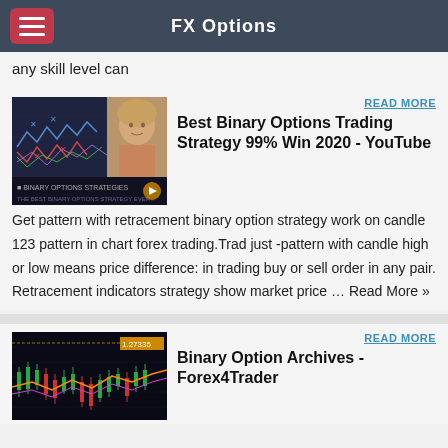FX Options
any skill level can
[Figure (screenshot): Thumbnail of a video showing trading chart patterns with a woman presenter, titled 'BINARY OPTIONS STRATEGIES']
READ MORE
Best Binary Options Trading Strategy 99% Win 2020 - YouTube
Get pattern with retracement binary option strategy work on candle 123 pattern in chart forex trading.Trad just -pattern with candle high or low means price difference: in trading buy or sell order in any pair. Retracement indicators strategy show market price … Read More »
[Figure (screenshot): Thumbnail of a forex candlestick trading chart with price level 1.27335 shown]
READ MORE
Binary Option Archives - Forex4Trader